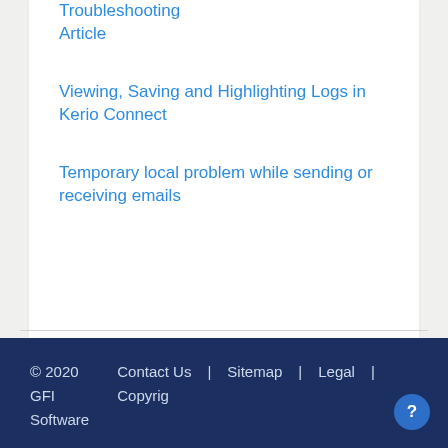Troubleshooting Article
Viewing, Saving and Highlighting Logs in Kerio Connect
Temporary local problem while sending or receiving emails
© 2020 GFI Software  |  Contact Us  |  Sitemap  |  Legal  |  Copyrig...